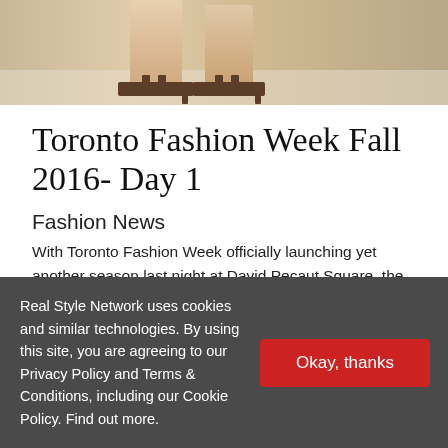[Figure (photo): Fashion runway photo showing legs and strappy heeled sandals of models walking on a catwalk, cropped at the top of the page.]
Toronto Fashion Week Fall 2016- Day 1
Fashion News
With Toronto Fashion Week officially launching yet another season last night at David Pecaut Square, the city is once again ablaze with vivid sartorial statements from a bevy of Canadian designers. Here's Real Style's report on Day 1 of the Toronto...
Real Style Network uses cookies and similar technologies. By using this site, you are agreeing to our Privacy Policy and Terms & Conditions, including our Cookie Policy. Find out more.